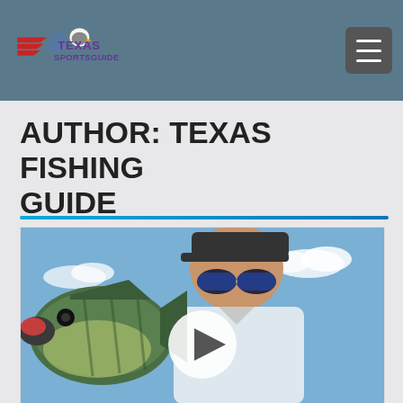Texas Sports Guide
AUTHOR: TEXAS FISHING GUIDE
[Figure (photo): Man in sunglasses and cap holding a large bass fish against a blue sky background, with a circular play button overlay in the center]